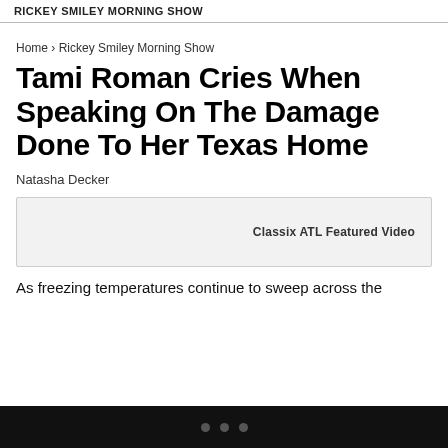RICKEY SMILEY MORNING SHOW
Home › Rickey Smiley Morning Show
Tami Roman Cries When Speaking On The Damage Done To Her Texas Home
Natasha Decker
[Figure (other): Classix ATL Featured Video player box]
As freezing temperatures continue to sweep across the